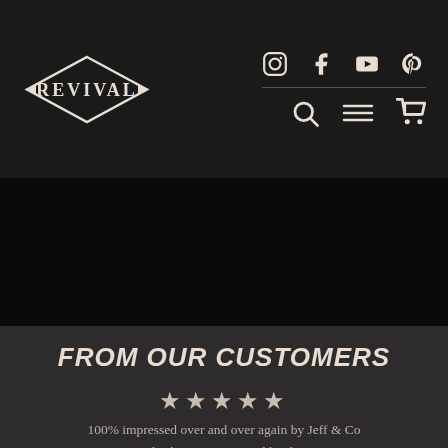[Figure (logo): Revival brand logo in diamond/arrow shape with decorative vintage serif lettering in cream/off-white on dark background]
[Figure (infographic): Top navigation bar with social media icons (Instagram, Facebook, YouTube, Pinterest) and navigation icons (search, menu, cart) on dark background]
[Figure (photo): Solid black hero/banner section]
FROM OUR CUSTOMERS
★★★★★
100% impressed over and over again by Jeff & Co at Revival. They're patient and kind no matter the enquiry (currently posts modding on R100/7...